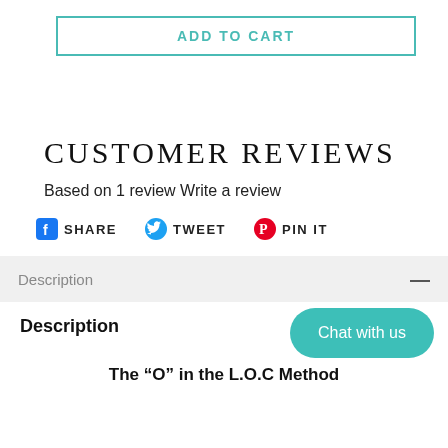ADD TO CART
CUSTOMER REVIEWS
Based on 1 review Write a review
SHARE   TWEET   PIN IT
Description —
Description
Chat with us
The “O” in the L.O.C Method